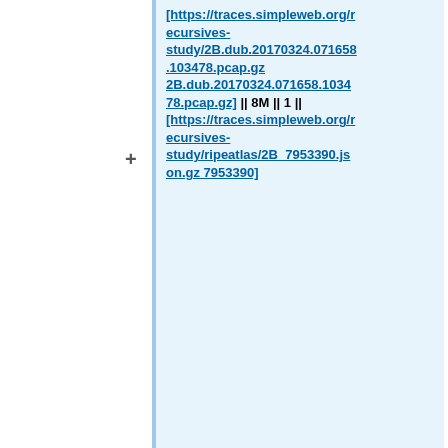[https://traces.simpleweb.org/recursives-study/2B.dub.20170324.071658.103478.pcap.gz 2B.dub.20170324.071658.103478.pcap.gz] || 8M || 1 || [https://traces.simpleweb.org/recursives-study/ripeatlas/2B_7953390.json.gz 7953390]
|-
| 2B-FRA || '''tcpdump at authoritative ''' || 2017-03-24 || 69m || [https://traces.simpleweb.org/recursives-study/2B.fra.20170324.071736.808716.pcap.gz 2B.fra.20170324.071736.808716.pcap.gz